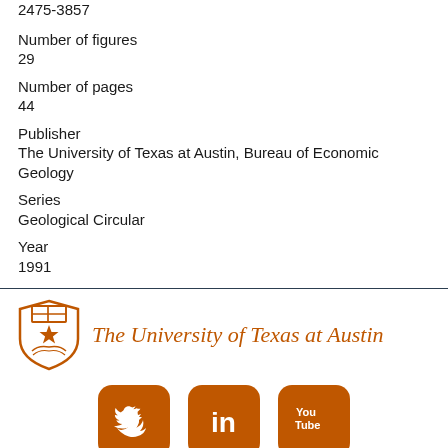2475-3857
Number of figures
29
Number of pages
44
Publisher
The University of Texas at Austin, Bureau of Economic Geology
Series
Geological Circular
Year
1991
[Figure (logo): The University of Texas at Austin logo with shield and text]
[Figure (logo): Social media icons: Twitter, LinkedIn, YouTube in burnt orange]